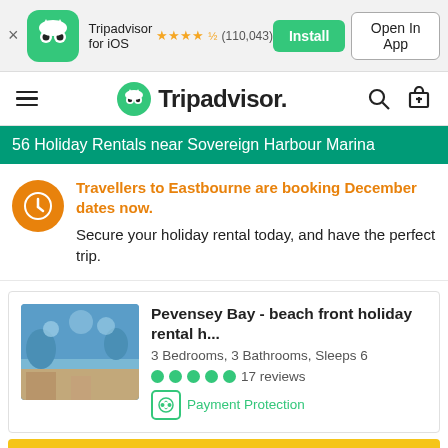[Figure (screenshot): App banner with Tripadvisor iOS app icon, star rating (110,043 reviews), Install and Open In App buttons]
Tripadvisor for iOS ★★★★½ (110,043)  Install  Open In App
[Figure (logo): Tripadvisor navigation bar with hamburger menu, owl logo, Tripadvisor wordmark, search icon, and cart icon]
56 Holiday Rentals near Sovereign Harbour Marina
Travellers to Eastbourne are booking December dates now. Secure your holiday rental today, and have the perfect trip.
Pevensey Bay - beach front holiday rental h... 3 Bedrooms, 3 Bathrooms, Sleeps 6  17 reviews  Payment Protection
Show Prices